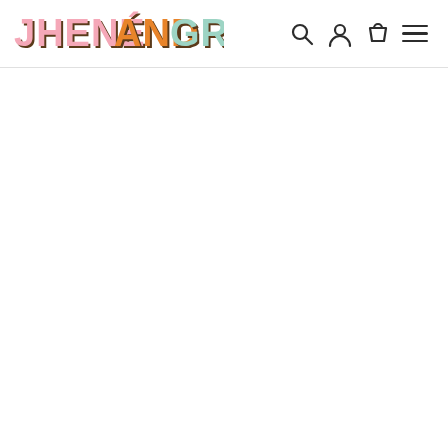Jhené and Grey — website header with logo and navigation icons
[Figure (logo): Jhené and Grey brand logo with colorful retro block lettering: JHENÉ in pink, AND in orange, GREY in mint/teal green, with dark shadow outlines]